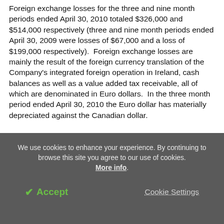Foreign exchange losses for the three and nine month periods ended April 30, 2010 totaled $326,000 and $514,000 respectively (three and nine month periods ended April 30, 2009 were losses of $67,000 and a loss of $199,000 respectively).  Foreign exchange losses are mainly the result of the foreign currency translation of the Company's integrated foreign operation in Ireland, cash balances as well as a value added tax receivable, all of which are denominated in Euro dollars.  In the three month period ended April 30, 2010 the Euro dollar has materially depreciated against the Canadian dollar.
We use cookies to enhance your experience. By continuing to browse this site you agree to our use of cookies. More info.